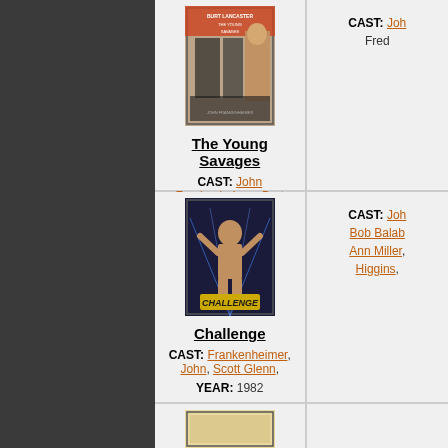[Figure (photo): Movie poster for The Young Savages (1961)]
The Young Savages
CAST: John Frankenheimer, Burt Lancaster, Dina Merrill, Edward Andrews, Vivian Nathan,
YEAR: 1961
[Figure (photo): Movie poster for Challenge (1982)]
Challenge
CAST: Frankenheimer, John, Scott Glenn,
YEAR: 1982
[Figure (photo): Partial movie poster visible at bottom of page]